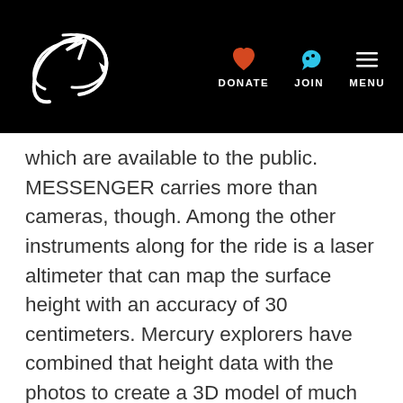Planetary Society website header with logo, DONATE, JOIN, MENU navigation
which are available to the public. MESSENGER carries more than cameras, though. Among the other instruments along for the ride is a laser altimeter that can map the surface height with an accuracy of 30 centimeters. Mercury explorers have combined that height data with the photos to create a 3D model of much of the planet.
At the MESSENGER web site, anyone can use the QuickMap feature to see the pictures and explore the 3D landscapes. For example,